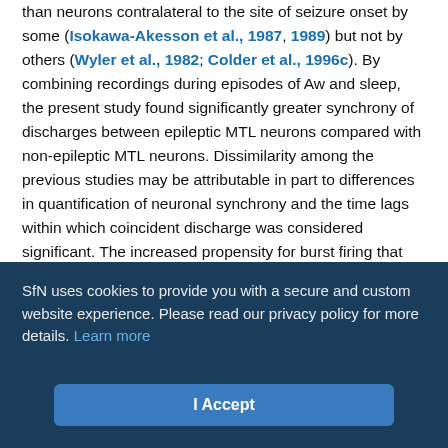than neurons contralateral to the site of seizure onset by some (Isokawa-Akesson et al., 1987, 1989) but not by others (Wyler et al., 1982; Colder et al., 1996c). By combining recordings during episodes of Aw and sleep, the present study found significantly greater synchrony of discharges between epileptic MTL neurons compared with non-epileptic MTL neurons. Dissimilarity among the previous studies may be attributable in part to differences in quantification of neuronal synchrony and the time lags within which coincident discharge was considered significant. The increased propensity for burst firing that we observed among epileptic neurons may have contributed to the higher incidence of synchronous discharge. However, Colder and colleagues (1996c) from the same studies cited above found no correlation between neuronal burst...
SfN uses cookies to provide you with a secure and custom website experience. Please read our privacy policy for more details. Learn more